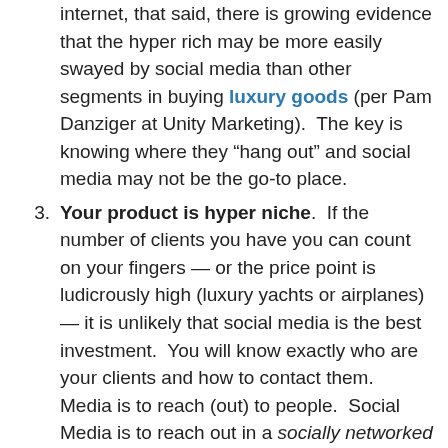internet, that said, there is growing evidence that the hyper rich may be more easily swayed by social media than other segments in buying luxury goods (per Pam Danziger at Unity Marketing). The key is knowing where they “hang out” and social media may not be the go-to place.
3. Your product is hyper niche. If the number of clients you have you can count on your fingers — or the price point is ludicrously high (luxury yachts or airplanes) — it is unlikely that social media is the best investment. You will know exactly who are your clients and how to contact them. Media is to reach (out) to people. Social Media is to reach out in a socially networked way. A well-placed telephone call, business lunch or attentive personal service may be the better avenue.
4. Your company is overly product-oriented – and not sufficiently client centric. The litmus test is whether there are well-organized channels for gaining, listening and acting on ongoing customer